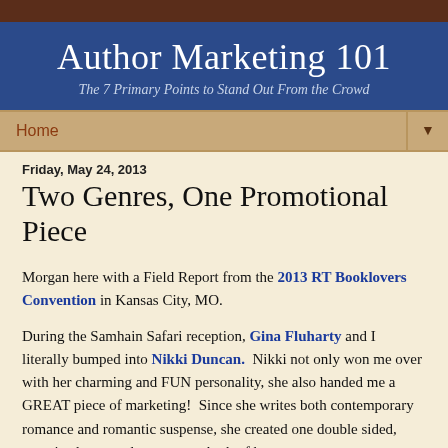Author Marketing 101 — The 7 Primary Points to Stand Out From the Crowd
Home
Friday, May 24, 2013
Two Genres, One Promotional Piece
Morgan here with a Field Report from the 2013 RT Booklovers Convention in Kansas City, MO.
During the Samhain Safari reception, Gina Fluharty and I literally bumped into Nikki Duncan. Nikki not only won me over with her charming and FUN personality, she also handed me a GREAT piece of marketing! Since she writes both contemporary romance and romantic suspense, she created one double sided, oversized postcard to promote both of her genres.